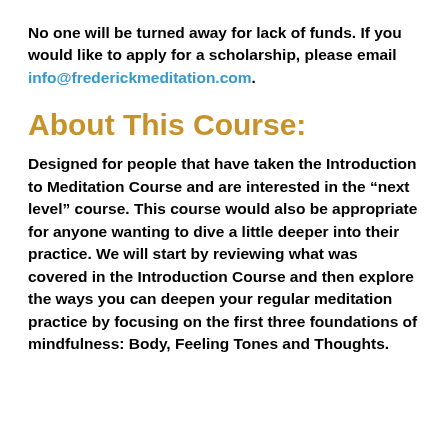No one will be turned away for lack of funds. If you would like to apply for a scholarship, please email info@frederickmeditation.com.
About This Course:
Designed for people that have taken the Introduction to Meditation Course and are interested in the "next level" course. This course would also be appropriate for anyone wanting to dive a little deeper into their practice. We will start by reviewing what was covered in the Introduction Course and then explore the ways you can deepen your regular meditation practice by focusing on the first three foundations of mindfulness: Body, Feeling Tones and Thoughts.